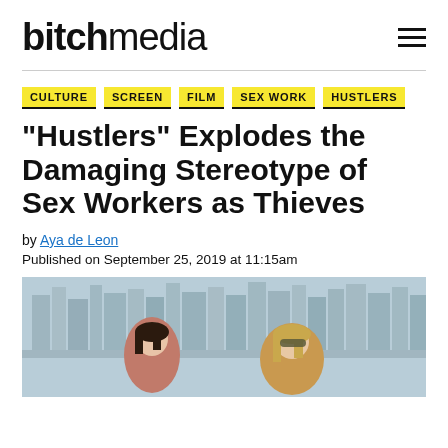bitch media
CULTURE
SCREEN
FILM
SEX WORK
HUSTLERS
“Hustlers” Explodes the Damaging Stereotype of Sex Workers as Thieves
by Aya de Leon
Published on September 25, 2019 at 11:15am
[Figure (photo): Two women sitting on a rooftop with city skyline in the background. One has dark hair and the other has blonde hair and sunglasses.]